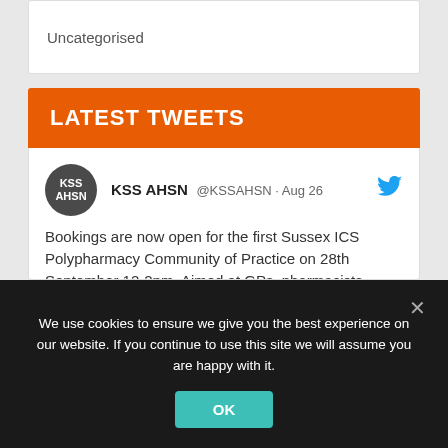Uncategorised
LATEST TWEETS
KSS AHSN @KSSAHSN · Aug 26
Bookings are now open for the first Sussex ICS Polypharmacy Community of Practice on 28th September 12-2pm. Aimed at GPs, pharmacists, geriatricians, nurses, AHPS with an interest in addressing problematic polypharmacy. Register to attend here eventbrite.co.uk/e/sussex-commu...
We use cookies to ensure we give you the best experience on our website. If you continue to use this site we will assume you are happy with it.